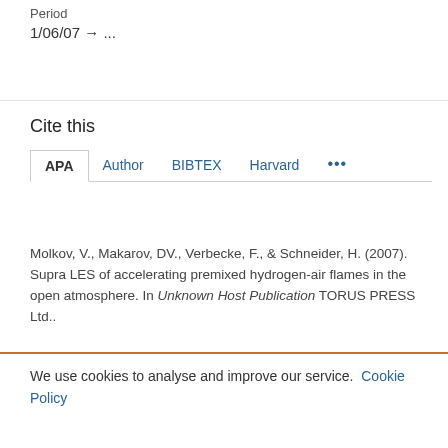Period
1/06/07 → ...
Cite this
APA  Author  BIBTEX  Harvard  ...
Molkov, V., Makarov, DV., Verbecke, F., & Schneider, H. (2007). Supra LES of accelerating premixed hydrogen-air flames in the open atmosphere. In Unknown Host Publication TORUS PRESS Ltd..
We use cookies to analyse and improve our service. Cookie Policy